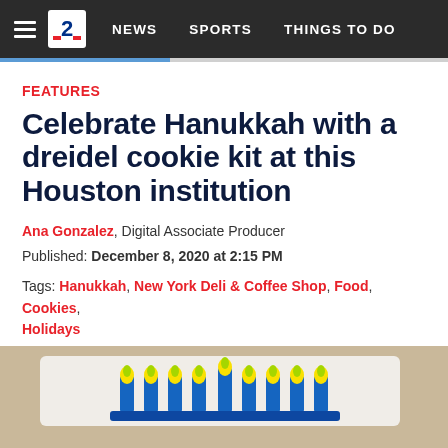NEWS  SPORTS  THINGS TO DO
FEATURES
Celebrate Hanukkah with a dreidel cookie kit at this Houston institution
Ana Gonzalez, Digital Associate Producer
Published: December 8, 2020 at 2:15 PM
Tags: Hanukkah, New York Deli & Coffee Shop, Food, Cookies, Holidays
[Figure (photo): Close-up of a decorated Hanukkah cookie (dreidel cookie kit) with blue and yellow icing on white, in a gift basket]